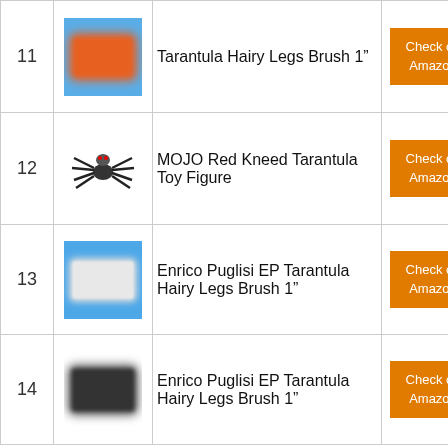11 — Tarantula Hairy Legs Brush 1”
12 — MOJO Red Kneed Tarantula Toy Figure
13 — Enrico Puglisi EP Tarantula Hairy Legs Brush 1”
14 — Enrico Puglisi EP Tarantula Hairy Legs Brush 1”